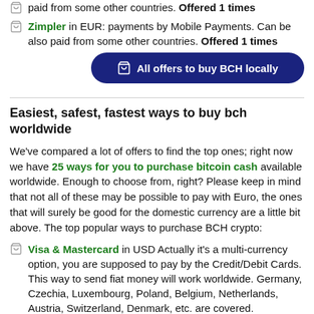paid from some other countries. Offered 1 times
Zimpler in EUR: payments by Mobile Payments. Can be also paid from some other countries. Offered 1 times
All offers to buy BCH locally
Easiest, safest, fastest ways to buy bch worldwide
We've compared a lot of offers to find the top ones; right now we have 25 ways for you to purchase bitcoin cash available worldwide. Enough to choose from, right? Please keep in mind that not all of these may be possible to pay with Euro, the ones that will surely be good for the domestic currency are a little bit above. The top popular ways to purchase BCH crypto:
Visa & Mastercard in USD Actually it's a multi-currency option, you are supposed to pay by the Credit/Debit Cards. This way to send fiat money will work worldwide. Germany, Czechia, Luxembourg, Poland, Belgium, Netherlands, Austria, Switzerland, Denmark, etc. are covered. Suggested in 3 offers
Skrill in USD you are supposed to pay by the e-wallet. This way to send fiat money will work worldwide. Germany, Belgium, France, Poland, Denmark, Switzerland, Luxembourg, Netherlands, Austria, etc. are covered. Suggested in 2 offers